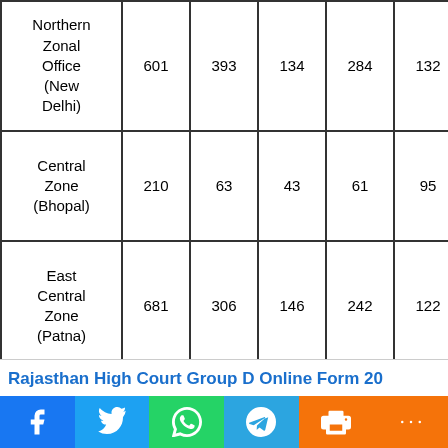| Northern Zonal Office (New Delhi) | 601 | 393 | 134 | 284 | 132 | 1544 |
| Central Zone (Bhopal) | 210 | 63 | 43 | 61 | 95 | 472 |
| East Central Zone (Patna) | 681 | 306 | 146 | 242 | 122 | 1497 |
Rajasthan High Court Group D Online Form 20
f  Twitter  WhatsApp  Telegram  Print  More